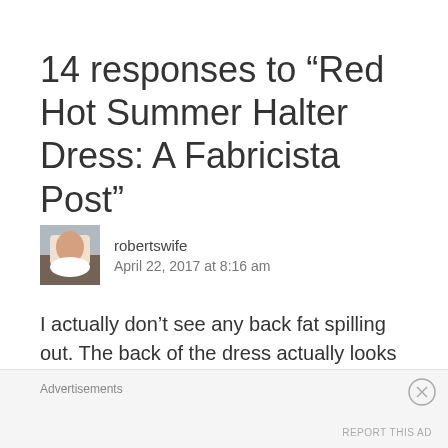14 responses to “Red Hot Summer Halter Dress: A Fabricista Post”
robertswife
April 22, 2017 at 8:16 am
I actually don’t see any back fat spilling out. The back of the dress actually looks great. I understand you know how you want to feel in it
Advertisements